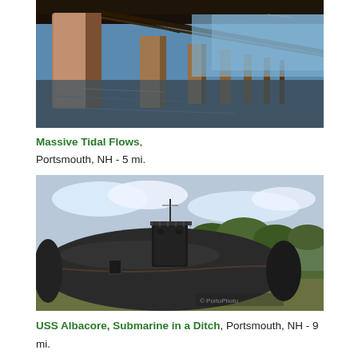[Figure (photo): View from under a bridge showing large concrete pillars and bridge structure over water, looking along the length of the bridge]
Massive Tidal Flows, Portsmouth, NH - 5 mi.
[Figure (photo): USS Albacore submarine sitting in a dry ditch/display area, dark hull visible with conning tower, trees in background]
USS Albacore, Submarine in a Ditch, Portsmouth, NH - 9 mi.
In the region: